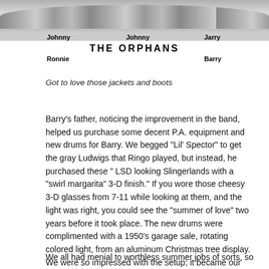[Figure (photo): Black and white band photo of The Orphans with names labeled: Johnny, Johnny, Jarry (top row), Ronnie, Barry (bottom row)]
Got to love those jackets and boots
Barry's father, noticing the improvement in the band, helped us purchase some decent P.A. equipment and new drums for Barry. We begged “Lil’ Spector” to get the gray Ludwigs that Ringo played, but instead, he purchased these “ LSD looking Slingerlands with a “swirl margarita” 3-D finish.” If you wore those cheesy 3-D glasses from 7-11 while looking at them, and the light was right, you could see the “summer of love” two years before it took place. The new drums were complimented with a 1950’s garage sale, rotating colored light, from an aluminum Christmas tree display. We were so impressed with the setup; it became our first light show.
We all had menial to worthless summer jobs of sorts, so